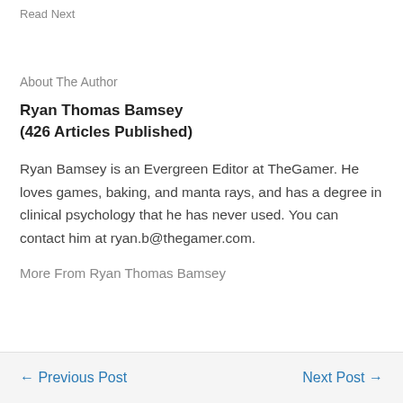Read Next
About The Author
Ryan Thomas Bamsey
(426 Articles Published)
Ryan Bamsey is an Evergreen Editor at TheGamer. He loves games, baking, and manta rays, and has a degree in clinical psychology that he has never used. You can contact him at ryan.b@thegamer.com.
More From Ryan Thomas Bamsey
← Previous Post    Next Post →